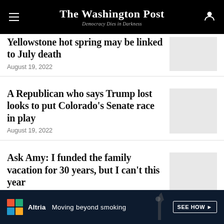The Washington Post — Democracy Dies in Darkness
Yellowstone hot spring may be linked to July death
August 19, 2022
A Republican who says Trump lost looks to put Colorado's Senate race in play
August 19, 2022
Ask Amy: I funded the family vacation for 30 years, but I can't this year
August 19, 2022
[Figure (infographic): Altria advertisement banner: 'Moving beyond smoking — SEE HOW ▶']